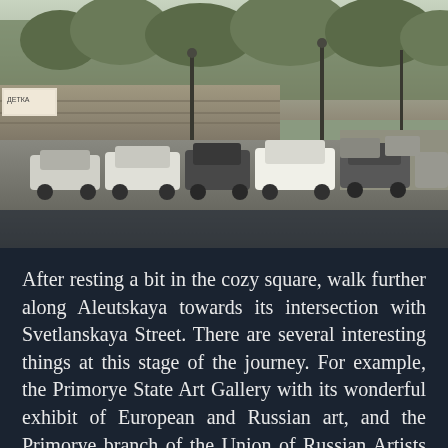[Figure (photo): Street scene showing Aleutskaya street with parked and moving cars, stone walls, trees, lamp posts, and urban buildings in the background. The photo appears to be taken in Vladivostok, Russia.]
After resting a bit in the cozy square, walk further along Aleutskaya towards its intersection with Svetlanskaya Street. There are several interesting things at this stage of the journey. For example, the Primorye State Art Gallery with its wonderful exhibit of European and Russian art, and the Primorye branch of the Union of Russian Artists with its exhibition hall, which presents the works of contemporary painters and graphic